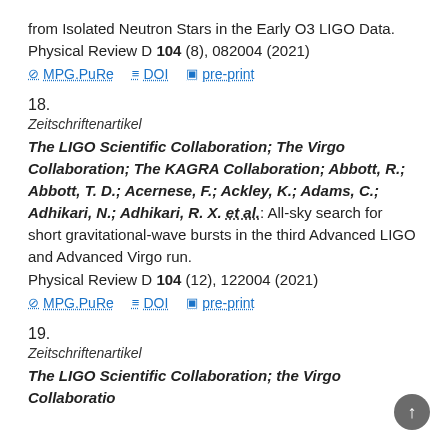from Isolated Neutron Stars in the Early O3 LIGO Data. Physical Review D 104 (8), 082004 (2021)
MPG.PuRe   DOI   pre-print
18.
Zeitschriftenartikel
The LIGO Scientific Collaboration; The Virgo Collaboration; The KAGRA Collaboration; Abbott, R.; Abbott, T. D.; Acernese, F.; Ackley, K.; Adams, C.; Adhikari, N.; Adhikari, R. X. et al.: All-sky search for short gravitational-wave bursts in the third Advanced LIGO and Advanced Virgo run. Physical Review D 104 (12), 122004 (2021)
MPG.PuRe   DOI   pre-print
19.
Zeitschriftenartikel
The LIGO Scientific Collaboration; the Virgo Collaboratio…